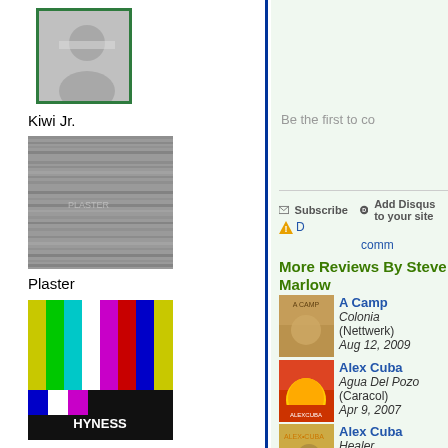[Figure (photo): Artist profile photo thumbnail with green border - Kiwi Jr.]
Kiwi Jr.
[Figure (photo): Plaster album cover - black and white textured image]
Plaster
[Figure (photo): Hyness album cover - color test bars pattern]
Hyness
[Figure (photo): Black Suit Devil album cover - illustrated portrait]
Black Suit Devil
Be the first to co...
Subscribe  Add Disqus to your site  D  comm...
More Reviews By Steve Marlow
[Figure (photo): A Camp - Colonia album cover thumbnail]
A Camp
Colonia
(Nettwerk)
Aug 12, 2009
[Figure (photo): Alex Cuba - Agua Del Pozo album cover thumbnail]
Alex Cuba
Agua Del Pozo
(Caracol)
Apr 9, 2007
[Figure (photo): Alex Cuba - Healer album cover thumbnail]
Alex Cuba
Healer
(Fontana North)
Jun 28, 2015